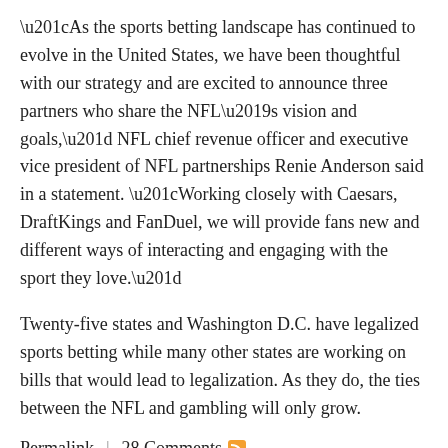“As the sports betting landscape has continued to evolve in the United States, we have been thoughtful with our strategy and are excited to announce three partners who share the NFL’s vision and goals,” NFL chief revenue officer and executive vice president of NFL partnerships Renie Anderson said in a statement. “Working closely with Caesars, DraftKings and FanDuel, we will provide fans new and different ways of interacting and engaging with the sport they love.”
Twenty-five states and Washington D.C. have legalized sports betting while many other states are working on bills that would lead to legalization. As they do, the ties between the NFL and gambling will only grow.
Permalink  |  28 Comments
28 responses to “NFL announces first sportsbook partnerships”
kevpft says:
April 15, 2021 at 4:54 pm